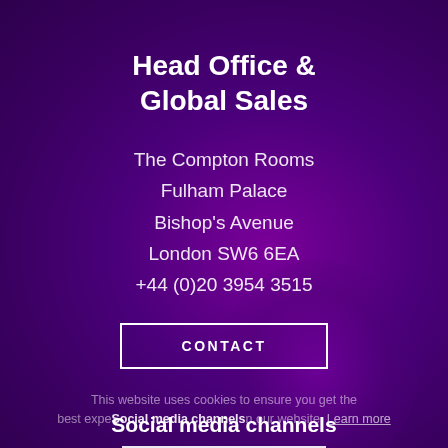Head Office & Global Sales
The Compton Rooms
Fulham Palace
Bishop's Avenue
London SW6 6EA
+44 (0)20 3954 3515
CONTACT
This website uses cookies to ensure you get the best experience on our website. Learn more
Social media channels
[Figure (infographic): Three social media icons in bordered boxes: Twitter (bird icon), LinkedIn (in icon), Instagram (camera icon)]
Ok
Logistics &